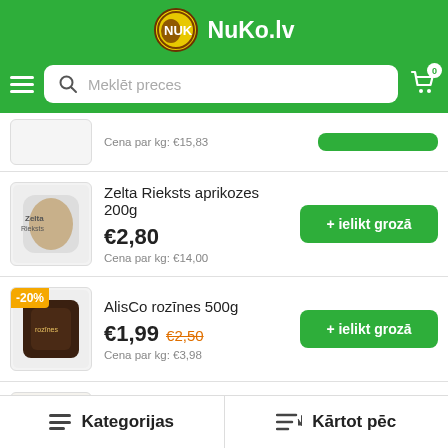NuKo.lv
Meklēt preces
Cena par kg: €15,83
Zelta Rieksts aprikozes 200g
€2,80
Cena par kg: €14,00
AlisCo rozīnes 500g
-20%
€1,99 €2,50
Cena par kg: €3,98
Super Garden Bio rozīnes 250g
Kategorijas   Kārtot pēc